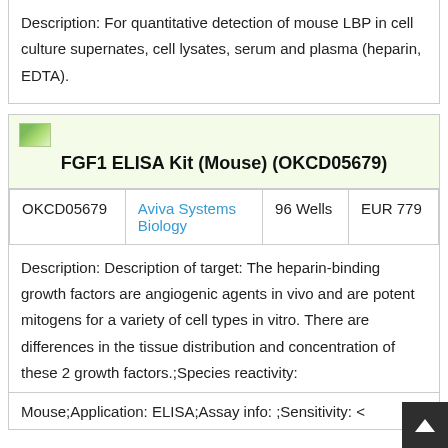Description: For quantitative detection of mouse LBP in cell culture supernates, cell lysates, serum and plasma (heparin, EDTA).
[Figure (other): Small thumbnail image icon for FGF1 ELISA Kit product]
FGF1 ELISA Kit (Mouse) (OKCD05679)
|  |  |  |  |
| --- | --- | --- | --- |
| OKCD05679 | Aviva Systems Biology | 96 Wells | EUR 779 |
Description: Description of target: The heparin-binding growth factors are angiogenic agents in vivo and are potent mitogens for a variety of cell types in vitro. There are differences in the tissue distribution and concentration of these 2 growth factors.;Species reactivity:
Mouse;Application: ELISA;Assay info: ;Sensitivity: <